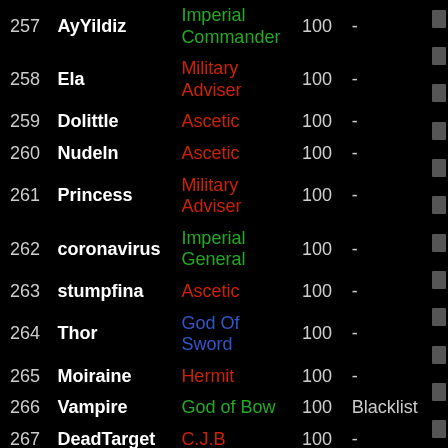| # | Name | Role | Score | Note |
| --- | --- | --- | --- | --- |
| 257 | AyYildiz | Imperial Commander | 100 | - |
| 258 | Ela | Military Adviser | 100 | - |
| 259 | Dolittle | Ascetic | 100 | - |
| 260 | Nudeln | Ascetic | 100 | - |
| 261 | Princess | Military Adviser | 100 | - |
| 262 | coronavirus | Imperial General | 100 | - |
| 263 | stumpfina | Ascetic | 100 | - |
| 264 | Thor | God Of Sword | 100 | - |
| 265 | Moiraine | Hermit | 100 | - |
| 266 | Vampire | God of Bow | 100 | Blacklist |
| 267 | DeadTarget | C.J.B | 100 | - |
| 268 | YinG | C.J.B | 100 | - |